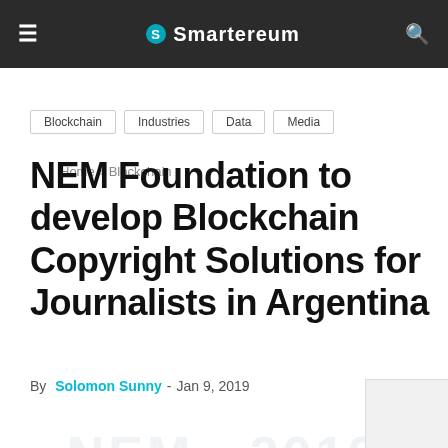≡  Smartereum  🔍
Home › Blockchain
Blockchain
Industries
Data
Media
NEM Foundation to develop Blockchain Copyright Solutions for Journalists in Argentina
By Solomon Sunny - Jan 9, 2019